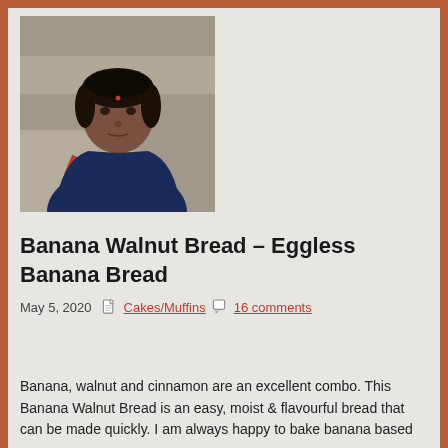[Figure (photo): Portrait photo of an Indian woman wearing a dark blue top with red accents, sitting outdoors near a stone wall]
Banana Walnut Bread – Eggless Banana Bread
May 5, 2020  Cakes/Muffins  16 comments
Banana, walnut and cinnamon are an excellent combo. This Banana Walnut Bread is an easy, moist & flavourful bread that can be made quickly. I am always happy to bake banana based